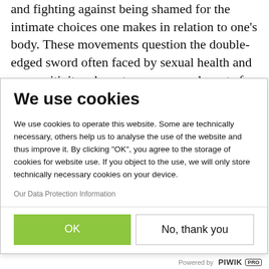and fighting against being shamed for the intimate choices one makes in relation to one’s body. These movements question the double-edged sword often faced by sexual health and sex positivity advocates: you can advocate for sexual rights in the name of broader societal issues like development and gender equality, but not in the name of the individual pursuit
We use cookies
We use cookies to operate this website. Some are technically necessary, others help us to analyse the use of the website and thus improve it. By clicking “OK”, you agree to the storage of cookies for website use. If you object to the use, we will only store technically necessary cookies on your device.
Our Data Protection Information
OK
No, thank you
Powered by PIWIK PRO